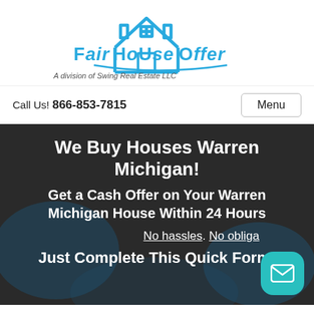[Figure (logo): Fair House Offer logo with house icon in blue, text 'Fair House Offer' in blue stylized font, and subtitle 'A division of Swing Real Estate LLC']
Call Us! 866-853-7815
Menu
We Buy Houses Warren Michigan!
Get a Cash Offer on Your Warren Michigan House Within 24 Hours
No hassles. No obliga...
Just Complete This Quick Form!